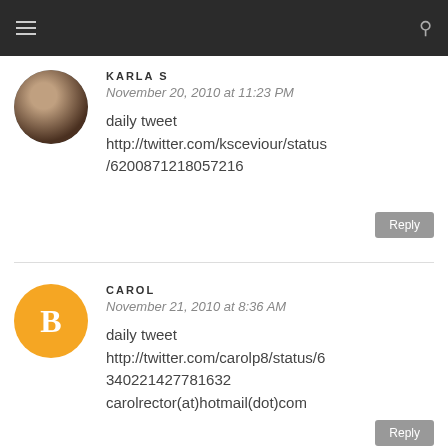Navigation bar with menu and search icons
KARLA S
November 20, 2010 at 11:23 PM
daily tweet
http://twitter.com/ksceviour/status/6200871218057216
Reply
CAROL
November 21, 2010 at 8:36 AM
daily tweet
http://twitter.com/carolp8/status/6340221427781632
carolrector(at)hotmail(dot)com
Reply